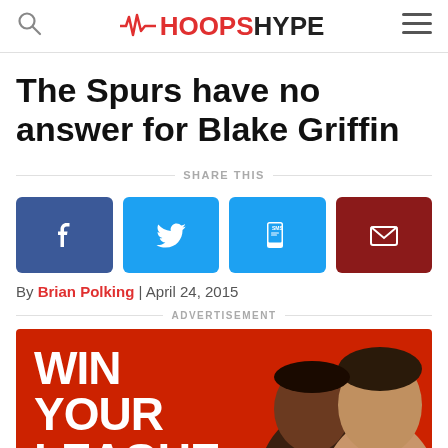HOOPSHYPE
The Spurs have no answer for Blake Griffin
SHARE THIS
[Figure (infographic): Social share buttons: Facebook, Twitter, SMS, Email]
By Brian Polking | April 24, 2015
ADVERTISEMENT
[Figure (photo): Advertisement banner with red background showing text WIN YOUR LEAGUE. Making fantasy football and two male faces]